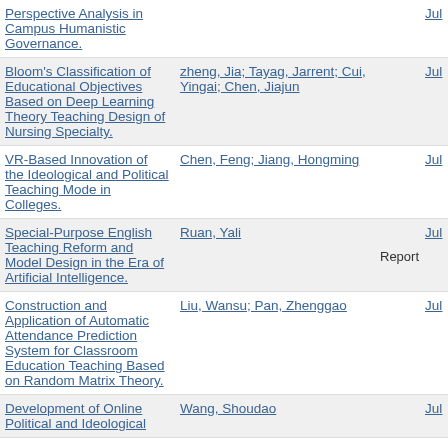| Title | Author(s) | Type | Date |
| --- | --- | --- | --- |
| Perspective Analysis in Campus Humanistic Governance. |  |  | Jul |
| Bloom's Classification of Educational Objectives Based on Deep Learning Theory Teaching Design of Nursing Specialty. | zheng, Jia; Tayag, Jarrent; Cui, Yingai; Chen, Jiajun |  | Jul |
| VR-Based Innovation of the Ideological and Political Teaching Mode in Colleges. | Chen, Feng; Jiang, Hongming |  | Jul |
| Special-Purpose English Teaching Reform and Model Design in the Era of Artificial Intelligence. | Ruan, Yali | Report | Jul |
| Construction and Application of Automatic Attendance Prediction System for Classroom Education Teaching Based on Random Matrix Theory. | Liu, Wansu; Pan, Zhenggao |  | Jul |
| Development of Online Political and Ideological | Wang, Shoudao |  | Jul |